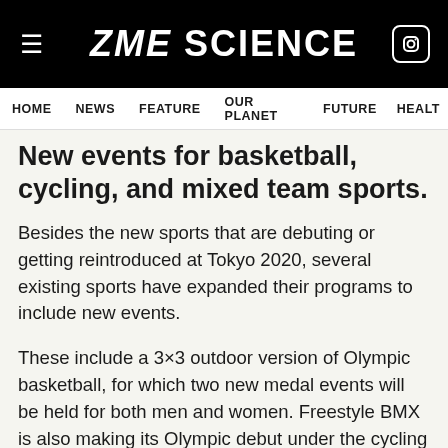ZME SCIENCE
HOME | NEWS | FEATURE | OUR PLANET | FUTURE | HEALT
New events for basketball, cycling, and mixed team sports.
Besides the new sports that are debuting or getting reintroduced at Tokyo 2020, several existing sports have expanded their programs to include new events.
These include a 3×3 outdoor version of Olympic basketball, for which two new medal events will be held for both men and women. Freestyle BMX is also making its Olympic debut under the cycling program. However, unlike other biking events, there is no racing involved. During BMX freestyle competitors